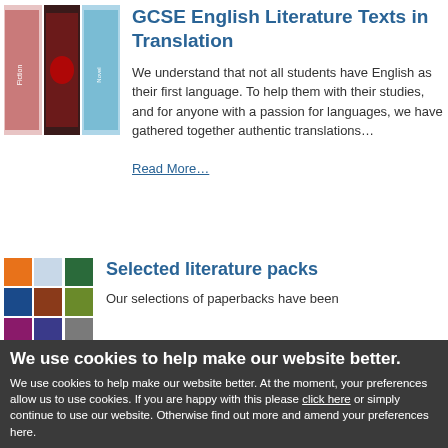[Figure (photo): Stack of book covers for GCSE English Literature texts]
GCSE English Literature Texts in Translation
We understand that not all students have English as their first language. To help them with their studies, and for anyone with a passion for languages, we have gathered together authentic translations…
Read More…
[Figure (photo): Grid of book covers for selected literature packs]
Selected literature packs
Our selections of paperbacks have been
We use cookies to help make our website better.
We use cookies to help make our website better. At the moment, your preferences allow us to use cookies. If you are happy with this please click here or simply continue to use our website. Otherwise find out more and amend your preferences here.